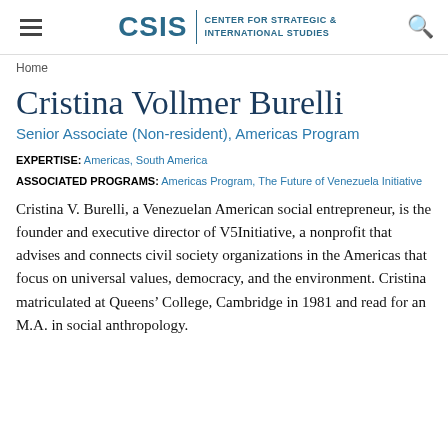CSIS | CENTER FOR STRATEGIC & INTERNATIONAL STUDIES
Home
Cristina Vollmer Burelli
Senior Associate (Non-resident), Americas Program
EXPERTISE: Americas, South America
ASSOCIATED PROGRAMS: Americas Program, The Future of Venezuela Initiative
Cristina V. Burelli, a Venezuelan American social entrepreneur, is the founder and executive director of V5Initiative, a nonprofit that advises and connects civil society organizations in the Americas that focus on universal values, democracy, and the environment. Cristina matriculated at Queens' College, Cambridge in 1981 and read for an M.A. in social anthropology.